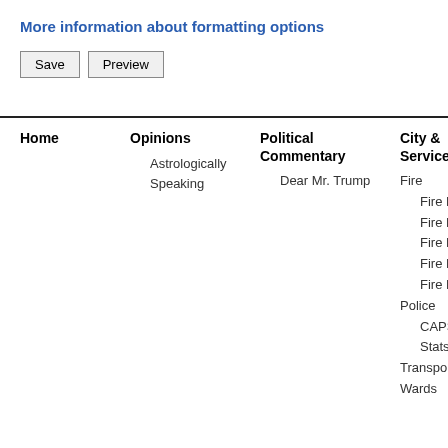More information about formatting options
Save   Preview
Home
Opinions
Political Commentary
City & Services
Co
Astrologically Speaking
Dear Mr. Trump
Fire
Fire News
Fire News
Fire News
Fire News
Fire News
Police
CAPS/Crime Stats
Transportation
Wards